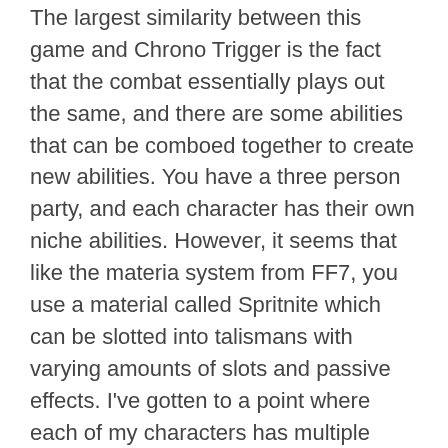The largest similarity between this game and Chrono Trigger is the fact that the combat essentially plays out the same, and there are some abilities that can be comboed together to create new abilities. You have a three person party, and each character has their own niche abilities. However, it seems that like the materia system from FF7, you use a material called Spritnite which can be slotted into talismans with varying amounts of slots and passive effects. I've gotten to a point where each of my characters has multiple abilities slotted, and combat has been a snap. I'm sure things will get more difficult eventually, but even after facing a few bosses, I haven't even come close to dying.
Is I Am Setsuna a modern classic? No, I wouldn't say that. Is it a solid JRPG experience that evokes feelings of nostalgia and makes me yearn for more